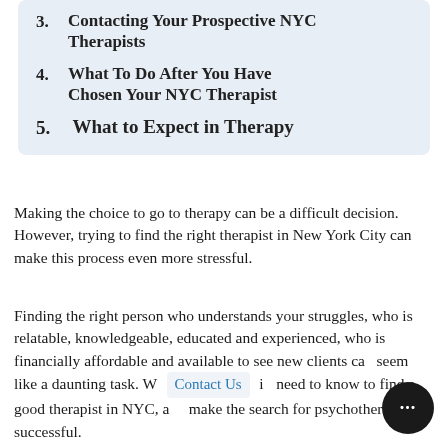3. Contacting Your Prospective NYC Therapists
4. What To Do After You Have Chosen Your NYC Therapist
5. What to Expect in Therapy
Making the choice to go to therapy can be a difficult decision. However, trying to find the right therapist in New York City can make this process even more stressful.
Finding the right person who understands your struggles, who is relatable, knowledgeable, educated and experienced, who is financially affordable and available to see new clients can seem like a daunting task. W [Contact Us] ill need to know to find a good therapist in NYC, and make the search for psychotherapy successful.